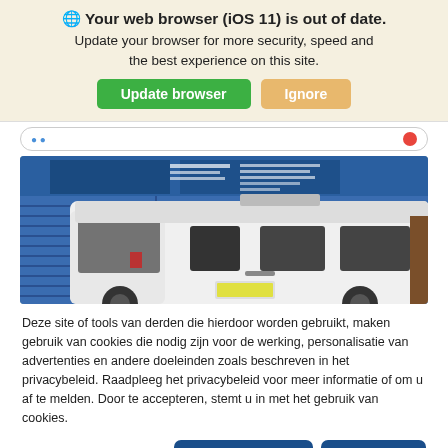🌐 Your web browser (iOS 11) is out of date. Update your browser for more security, speed and the best experience on this site.
Update browser | Ignore
[Figure (photo): A white motorhome/campervan parked in front of a blue industrial building with signage]
Deze site of tools van derden die hierdoor worden gebruikt, maken gebruik van cookies die nodig zijn voor de werking, personalisatie van advertenties en andere doeleinden zoals beschreven in het privacybeleid. Raadpleeg het privacybeleid voor meer informatie of om u af te melden. Door te accepteren, stemt u in met het gebruik van cookies.
Privacybeleid
Beheer mijn cookies
Accepteer alle